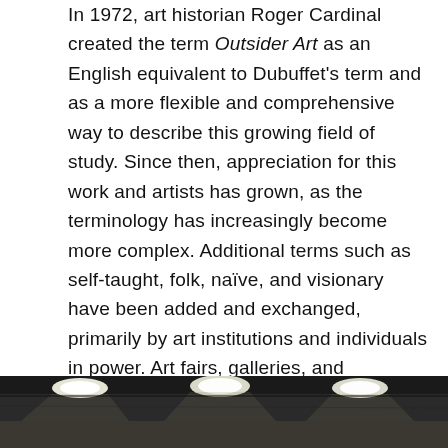In 1972, art historian Roger Cardinal created the term Outsider Art as an English equivalent to Dubuffet's term and as a more flexible and comprehensive way to describe this growing field of study. Since then, appreciation for this work and artists has grown, as the terminology has increasingly become more complex. Additional terms such as self-taught, folk, naïve, and visionary have been added and exchanged, primarily by art institutions and individuals in power. Art fairs, galleries, and publications have also become dedicated to this field, yet the terminology remains cast in ways that can often marginalize and exclude. As interest continues to grow, how can we engage, support, and collect Outsider Art?
[Figure (photo): Bottom strip of a photograph showing an interior space with overhead lights illuminating a large room or gallery/warehouse space.]